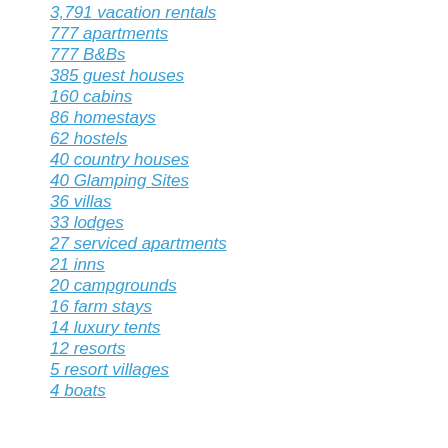3,791 vacation rentals
777 apartments
777 B&Bs
385 guest houses
160 cabins
86 homestays
62 hostels
40 country houses
40 Glamping Sites
36 villas
33 lodges
27 serviced apartments
21 inns
20 campgrounds
16 farm stays
14 luxury tents
12 resorts
5 resort villages
4 boats